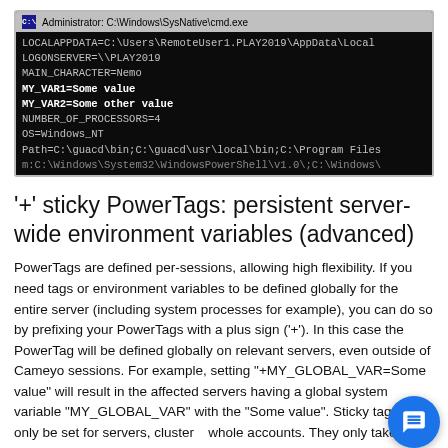[Figure (screenshot): Windows Command Prompt (Administrator: C:\Windows\SysNative\cmd.exe) showing environment variables including LOCALAPPDATA, LOGONSERVER, MAIN_CHARACTER, MY_VAR1, MY_VAR2, NUMBER_OF_PROCESSORS, OS, and Path.]
'+' sticky PowerTags: persistent server-wide environment variables (advanced)
PowerTags are defined per-sessions, allowing high flexibility. If you need tags or environment variables to be defined globally for the entire server (including system processes for example), you can do so by prefixing your PowerTags with a plus sign ('+'). In this case the PowerTag will be defined globally on relevant servers, even outside of Cameyo sessions. For example, setting "+MY_GLOBAL_VAR=Some value" will result in the affected servers having a global system variable "MY_GLOBAL_VAR" with the "Some value". Sticky tags can only be set for servers, clusters, whole accounts. They only take effect upon server's service start. Removing a sticky server tag that has been added requires setting it